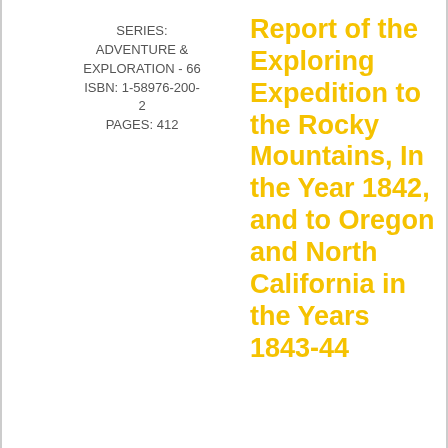SERIES: ADVENTURE & EXPLORATION - 66
ISBN: 1-58976-200-2
PAGES: 412
Report of the Exploring Expedition to the Rocky Mountains, In the Year 1842, and to Oregon and North California in the Years 1843-44